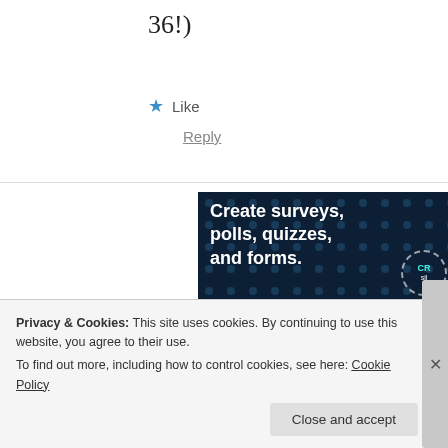36!)
★ Like
Reply
[Figure (infographic): Dark navy advertisement banner with bold white text 'Create surveys, polls, quizzes, and forms.' with a pink 'Start now' button and WordPress logo]
Privacy & Cookies: This site uses cookies. By continuing to use this website, you agree to their use.
To find out more, including how to control cookies, see here: Cookie Policy
Close and accept